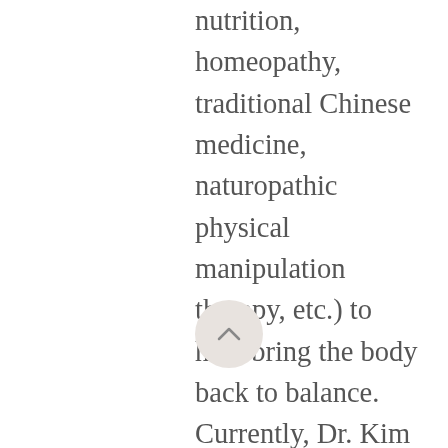nutrition, homeopathy, traditional Chinese medicine, naturopathic physical manipulation therapy, etc.) to help bring the body back to balance. Currently, Dr. Kim is honored to serve as the medical director at TLC and multiple drug and alcohol treatment centers through the valley. She holds two active faculty appointments at the collegiate level and maintains a professional vlog and podcast on health, empowerment, and equity in the society we live in today. As a cancer survivor, Dr. Kim